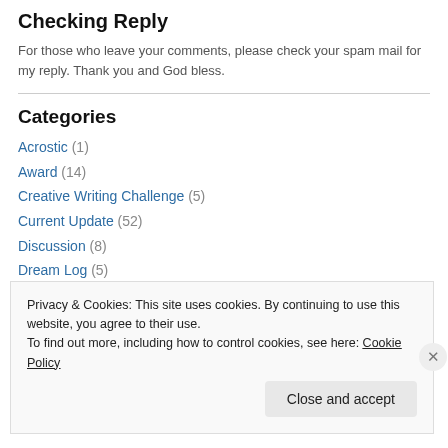Checking Reply
For those who leave your comments, please check your spam mail for my reply. Thank you and God bless.
Categories
Acrostic (1)
Award (14)
Creative Writing Challenge (5)
Current Update (52)
Discussion (8)
Dream Log (5)
Privacy & Cookies: This site uses cookies. By continuing to use this website, you agree to their use. To find out more, including how to control cookies, see here: Cookie Policy
Close and accept